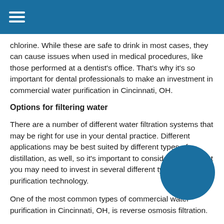chlorine. While these are safe to drink in most cases, they can cause issues when used in medical procedures, like those performed at a dentist's office. That's why it's so important for dental professionals to make an investment in commercial water purification in Cincinnati, OH.
Options for filtering water
There are a number of different water filtration systems that may be right for use in your dental practice. Different applications may be best suited by different types of distillation, as well, so it's important to consider the fact that you may need to invest in several different types of water purification technology.
One of the most common types of commercial water purification in Cincinnati, OH, is reverse osmosis filtration.